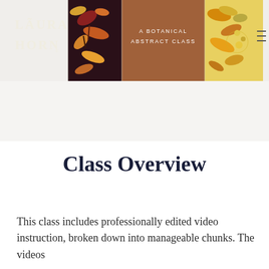[Figure (photo): Website header banner for Laura Horne featuring logo on left, a brown center panel reading 'A BOTANICAL ABSTRACT CLASS', autumn leaf photo panels on either side, and a menu icon on the right.]
Class Overview
This class includes professionally edited video instruction, broken down into manageable chunks. The videos